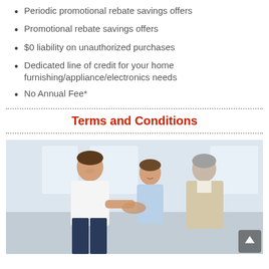Periodic promotional rebate savings offers
Promotional rebate savings offers
$0 liability on unauthorized purchases
Dedicated line of credit for your home furnishing/appliance/electronics needs
No Annual Fee*
Terms and Conditions
[Figure (photo): A smiling couple shaking hands with an older advisor/consultant in a bright office setting]